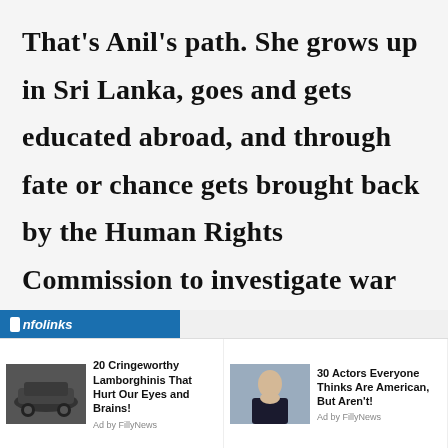That's Anil's path. She grows up in Sri Lanka, goes and gets educated abroad, and through fate or chance gets brought back by the Human Rights Commission to investigate war crimes.
[Figure (screenshot): Infolinks advertisement bar with two ad items: '20 Cringeworthy Lamborghinis That Hurt Our Eyes and Brains!' with car image, and '30 Actors Everyone Thinks Are American, But Aren't!' with person image. Both attributed to FillyNews.]